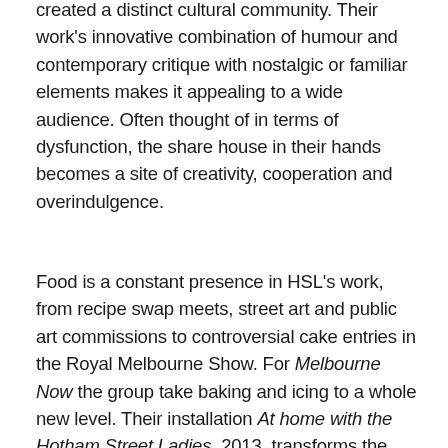created a distinct cultural community. Their work's innovative combination of humour and contemporary critique with nostalgic or familiar elements makes it appealing to a wide audience. Often thought of in terms of dysfunction, the share house in their hands becomes a site of creativity, cooperation and overindulgence.
Food is a constant presence in HSL's work, from recipe swap meets, street art and public art commissions to controversial cake entries in the Royal Melbourne Show. For Melbourne Now the group take baking and icing to a whole new level. Their installation At home with the Hotham Street Ladies, 2013, transforms the foyer of The Ian Potter Centre: NGV Australia into an icing-bombed domestic wonderland. Their commission for kids invites children and families to photograph themselves